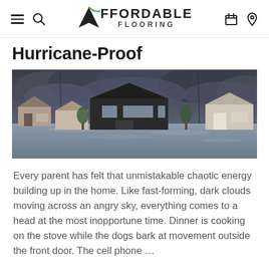Affordable Flooring
Hurricane-Proof
[Figure (photo): Flooded residential neighborhood with houses partially submerged in water under dark stormy clouds]
Every parent has felt that unmistakable chaotic energy building up in the home. Like fast-forming, dark clouds moving across an angry sky, everything comes to a head at the most inopportune time. Dinner is cooking on the stove while the dogs bark at movement outside the front door. The cell phone …